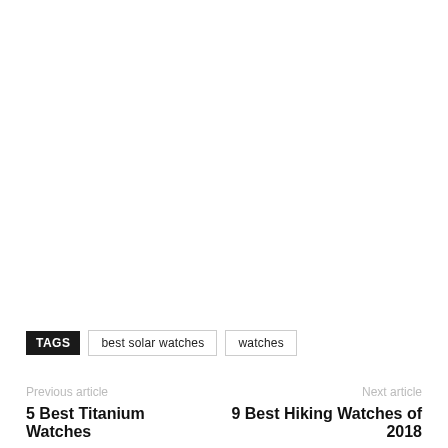TAGS  best solar watches  watches
Previous article
5 Best Titanium Watches
Next article
9 Best Hiking Watches of 2018